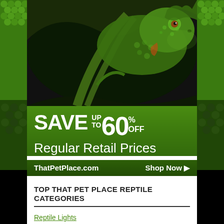[Figure (photo): Green chameleon close-up photo on dark background with green reptile scale textures on left and right sides]
[Figure (infographic): Green banner advertisement: SAVE UP TO 60% OFF Regular Retail Prices. ThatPetPlace.com Shop Now arrow]
TOP THAT PET PLACE REPTILE CATEGORIES
Reptile Lights
Reptile Bedding
Reptile Cages
Reptile Food
Reptile Bulbs and Lamps